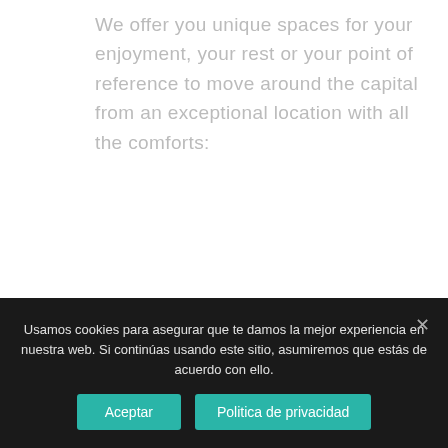We offer you unique spaces for your enjoyment, your rest or your point of reference to move around the capital from an exceptional location with all the comforts:
Equipment:
Double Bed
Wifi
Usamos cookies para asegurar que te damos la mejor experiencia en nuestra web. Si continúas usando este sitio, asumiremos que estás de acuerdo con ello.